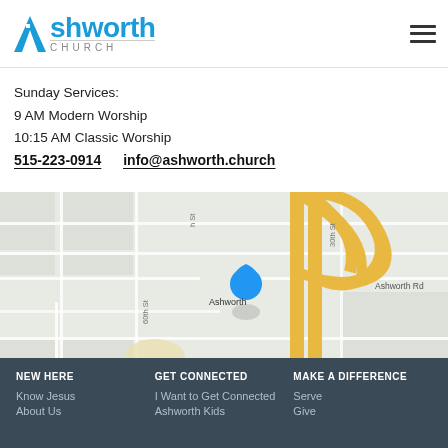Ashworth Church — navigation header with hamburger menu
Sunday Services:
9 AM Modern Worship
10:15 AM Classic Worship
515-223-0914    info@ashworth.church
[Figure (map): Google Maps view showing location pin labeled 'Ashworth' near intersection of 60th St and Ashworth Rd, with yellow highway interchange visible. Map data ©2022 Google. Labels: Keyboard shortcuts, Terms of Use]
NEW HERE
Know Jesus
About Us
GET CONNECTED
I Want to Get Connected
Ashworth Kids
MAKE A DIFFERENCE
Serve
Give